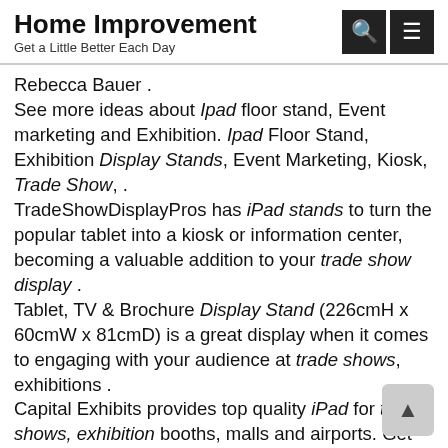Home Improvement
Get a Little Better Each Day
Rebecca Bauer . See more ideas about Ipad floor stand, Event marketing and Exhibition. Ipad Floor Stand, Exhibition Display Stands, Event Marketing, Kiosk, Trade Show, . TradeShowDisplayPros has iPad stands to turn the popular tablet into a kiosk or information center, becoming a valuable addition to your trade show display . Tablet, TV & Brochure Display Stand (226cmH x 60cmW x 81cmD) is a great display when it comes to engaging with your audience at trade shows, exhibitions . Capital Exhibits provides top quality iPad for trade shows, exhibition booths, malls and airports. Get manufacturer direct wholesales exhibit kiosks. Create an interactive display space with our great value iPad & tablet display stands designed for